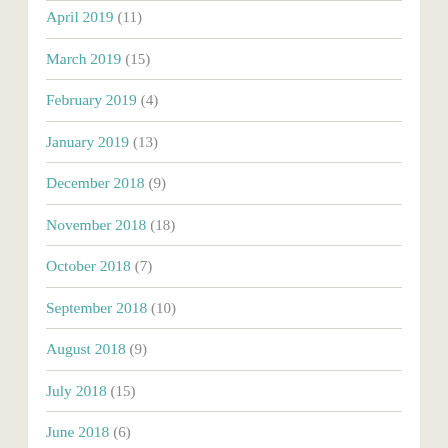April 2019 (11)
March 2019 (15)
February 2019 (4)
January 2019 (13)
December 2018 (9)
November 2018 (18)
October 2018 (7)
September 2018 (10)
August 2018 (9)
July 2018 (15)
June 2018 (6)